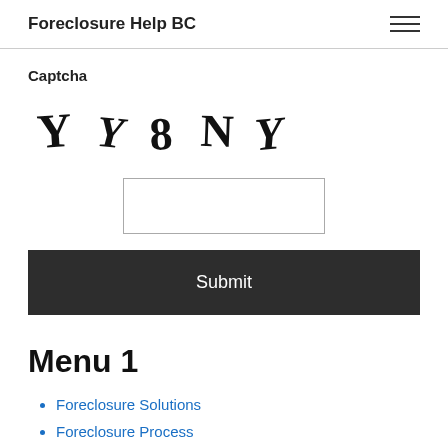Foreclosure Help BC
Captcha
[Figure (other): CAPTCHA image showing distorted text: YY8NY]
[Captcha input field]
Submit
Menu 1
Foreclosure Solutions
Foreclosure Process